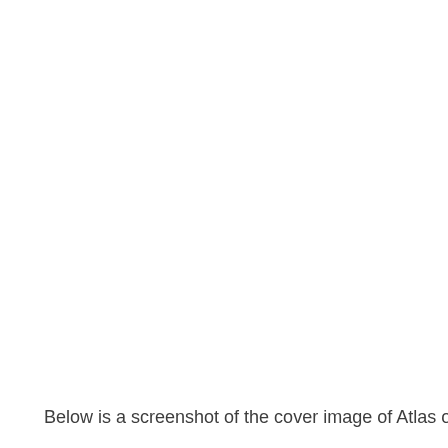Below is a screenshot of the cover image of Atlas of